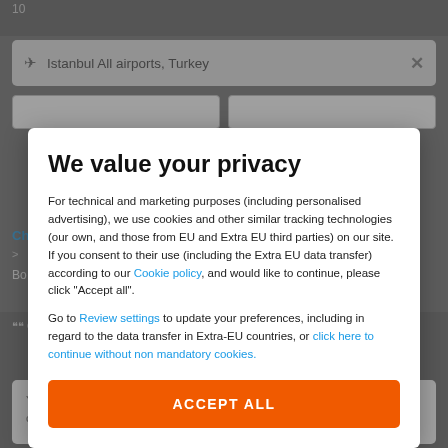[Figure (screenshot): Background of a travel booking website showing a search interface with Istanbul All airports, Turkey in a search field, date pickers, and calendar/price selector below.]
We value your privacy
For technical and marketing purposes (including personalised advertising), we use cookies and other similar tracking technologies (our own, and those from EU and Extra EU third parties) on our site. If you consent to their use (including the Extra EU data transfer) according to our Cookie policy, and would like to continue, please click "Accept all".
Go to Review settings to update your preferences, including in regard to the data transfer in Extra-EU countries, or click here to continue without non mandatory cookies.
ACCEPT ALL